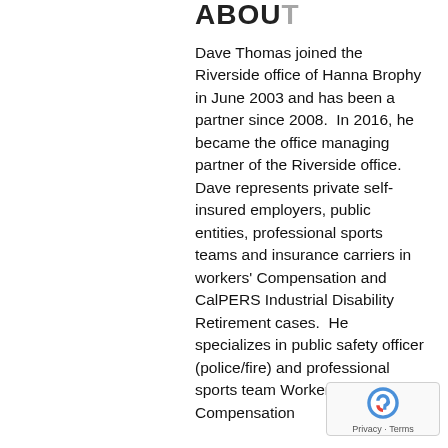ABOUT
Dave Thomas joined the Riverside office of Hanna Brophy in June 2003 and has been a partner since 2008.  In 2016, he became the office managing partner of the Riverside office.  Dave represents private self-insured employers, public entities, professional sports teams and insurance carriers in workers' Compensation and CalPERS Industrial Disability Retirement cases.  He specializes in public safety officer (police/fire) and professional sports team Workers' Compensation